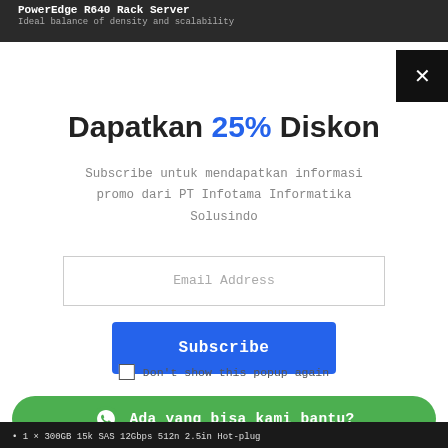PowerEdge R640 Rack Server
Ideal balance of density and scalability
Dapatkan 25% Diskon
Subscribe untuk mendapatkan informasi promo dari PT Infotama Informatika Solusindo
Email Address
Subscribe
Don't show this popup again
Ada yang bisa kami bantu?
1 × 300GB 15k SAS 12Gbps 512n 2.5in Hot-plug